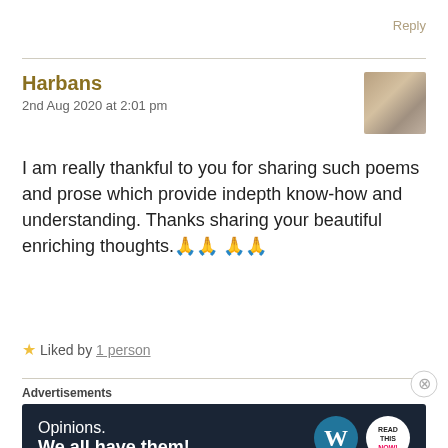Reply
Harbans
2nd Aug 2020 at 2:01 pm
I am really thankful to you for sharing such poems and prose which provide indepth know-how and understanding. Thanks sharing your beautiful enriching thoughts.🙏🙏 🙏🙏
★ Liked by 1 person
Advertisements
[Figure (screenshot): Advertisement banner: dark navy background with 'Opinions. We all have them!' text and WordPress logo with a circular badge logo on the right.]